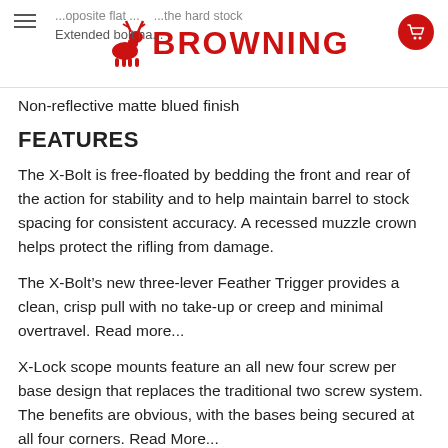Browning Logo Header
...oposite flat ...the hard stock
Extended bolt ha...
Non-reflective matte blued finish
FEATURES
The X-Bolt is free-floated by bedding the front and rear of the action for stability and to help maintain barrel to stock spacing for consistent accuracy. A recessed muzzle crown helps protect the rifling from damage.
The X-Bolt’s new three-lever Feather Trigger provides a clean, crisp pull with no take-up or creep and minimal overtravel. Read more...
X-Lock scope mounts feature an all new four screw per base design that replaces the traditional two screw system. The benefits are obvious, with the bases being secured at all four corners. Read More...